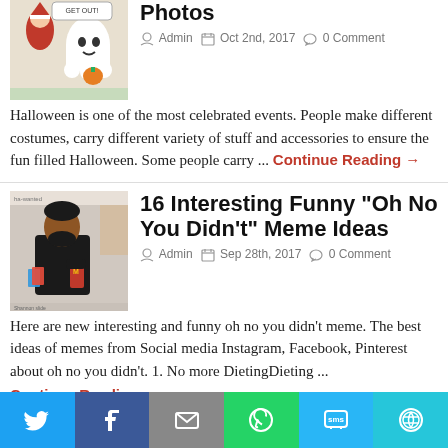[Figure (photo): Thumbnail image of Halloween meme - Santa and ghost cartoon]
Photos
Admin  Oct 2nd, 2017  0 Comment
Halloween is one of the most celebrated events. People make different costumes, carry different variety of stuff and accessories to ensure the fun filled Halloween. Some people carry ... Continue Reading →
[Figure (photo): Thumbnail image of man with McDonald's cup - Oh No You Didn't meme]
16 Interesting Funny "Oh No You Didn't" Meme Ideas
Admin  Sep 28th, 2017  0 Comment
Here are new interesting and funny oh no you didn't meme. The best ideas of memes from Social media Instagram, Facebook, Pinterest about oh no you didn't. 1. No more DietingDieting ... Continue Reading →
[Figure (infographic): Social sharing bar with Twitter, Facebook, Email, WhatsApp, SMS, and More buttons]